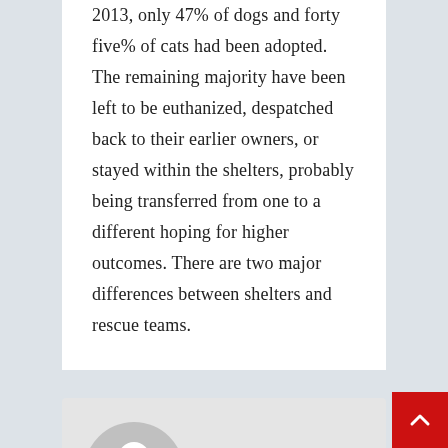2013, only 47% of dogs and forty five% of cats had been adopted. The remaining majority have been left to be euthanized, despatched back to their earlier owners, or stayed within the shelters, probably being transferred from one to a different hoping for higher outcomes. There are two major differences between shelters and rescue teams.
Author
[Figure (illustration): Generic user avatar icon: grey circle with white silhouette of a person (head and shoulders)]